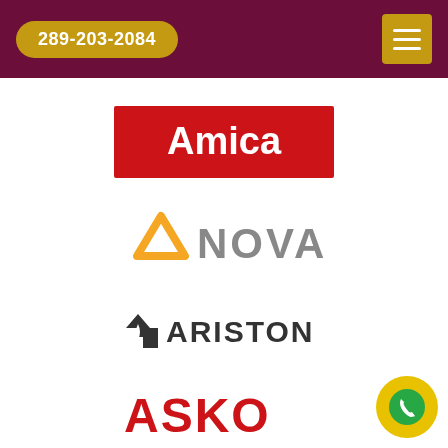289-203-2084
[Figure (logo): Amica brand logo — white text on red rectangular background]
[Figure (logo): Anova brand logo — orange triangle A followed by NOVA in grey uppercase letters]
[Figure (logo): Ariston brand logo — house/flame icon followed by ARISTON in dark grey uppercase letters]
[Figure (logo): ASKO brand logo — red stylized letters, partially cropped at bottom of page]